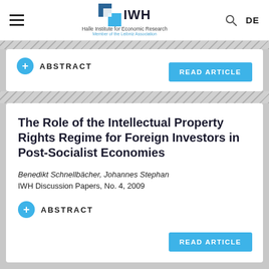IWH – Halle Institute for Economic Research | Member of the Leibniz Association | DE
ABSTRACT
READ ARTICLE
The Role of the Intellectual Property Rights Regime for Foreign Investors in Post-Socialist Economies
Benedikt Schnellbächer, Johannes Stephan
IWH Discussion Papers, No. 4, 2009
ABSTRACT
READ ARTICLE